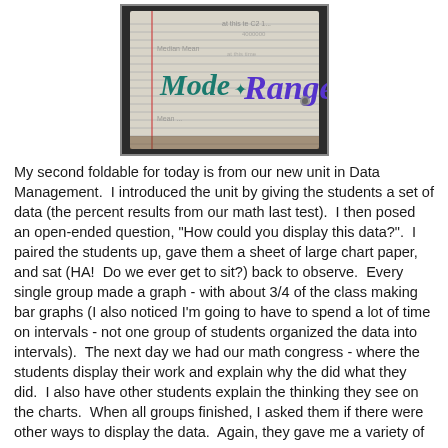[Figure (photo): A photograph of a foldable notebook page with 'Mode Range' written in colorful lettering - 'Mode' in teal/green and 'Range' in purple, on lined paper background.]
My second foldable for today is from our new unit in Data Management.  I introduced the unit by giving the students a set of data (the percent results from our math last test).  I then posed an open-ended question, "How could you display this data?".  I paired the students up, gave them a sheet of large chart paper, and sat (HA!  Do we ever get to sit?) back to observe.  Every single group made a graph - with about 3/4 of the class making bar graphs (I also noticed I'm going to have to spend a lot of time on intervals - not one group of students organized the data into intervals).  The next day we had our math congress - where the students display their work and explain why the did what they did.  I also have other students explain the thinking they see on the charts.  When all groups finished, I asked them if there were other ways to display the data.  Again, they gave me a variety of